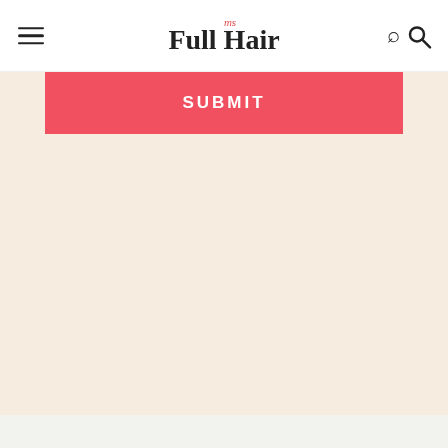ms Full Hair
[Figure (other): Red SUBMIT button on a beige/cream background]
Regrow Hair
Get The Latest Updates On How To Stimulate Hair Growth.
Your Email  SUBMIT